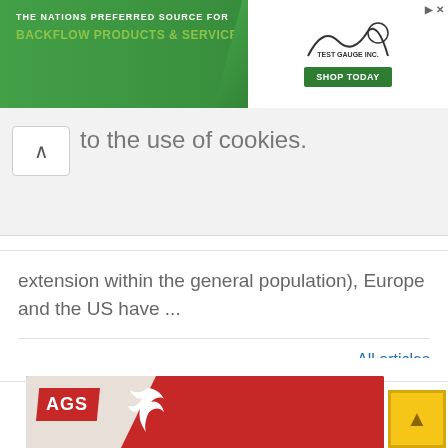[Figure (screenshot): Top banner advertisement for backflow products and services with Test Gauge Inc. logo and Shop Today button on green background]
to the use of cookies.
extension within the general population), Europe and the US have ...
All articles
[Figure (screenshot): AGS moving company advertisement showing a couple consulting with text 'Moving abroad soon?' and 'FREE QUOTE' button on red background]